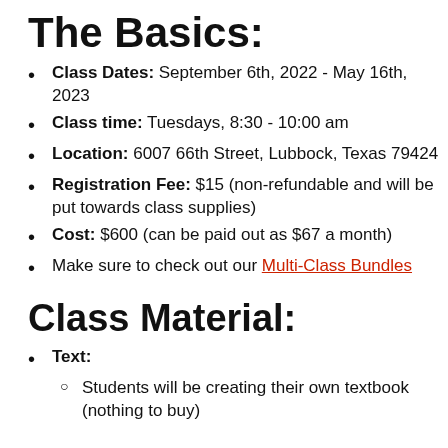The Basics:
Class Dates: September 6th, 2022 - May 16th, 2023
Class time: Tuesdays, 8:30 - 10:00 am
Location: 6007 66th Street, Lubbock, Texas 79424
Registration Fee: $15 (non-refundable and will be put towards class supplies)
Cost: $600 (can be paid out as $67 a month)
Make sure to check out our Multi-Class Bundles
Class Material:
Text:
Students will be creating their own textbook (nothing to buy)